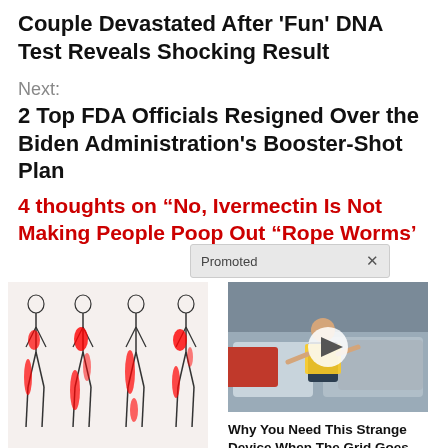Couple Devastated After 'Fun' DNA Test Reveals Shocking Result
Next:
2 Top FDA Officials Resigned Over the Biden Administration's Booster-Shot Plan
4 thoughts on “No, Ivermectin Is Not Making People Poop Out “Rope Worms’
Promoted
[Figure (illustration): Medical illustration showing four human body outlines with red highlighted areas indicating sciatic nerve pain regions along the lower back, hips, and legs]
Suffering From Chronic Sciatic Nerve Pain? Here's A Secret You Need To Know
80,029
[Figure (photo): Photo of a man in a yellow safety vest directing traffic on a busy street with cars in the background]
Why You Need This Strange Device When The Grid Goes Down
2,678